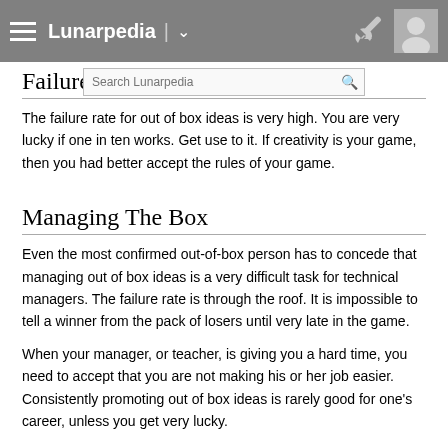Lunarpedia
Failure Rate
The failure rate for out of box ideas is very high. You are very lucky if one in ten works. Get use to it. If creativity is your game, then you had better accept the rules of your game.
Managing The Box
Even the most confirmed out-of-box person has to concede that managing out of box ideas is a very difficult task for technical managers. The failure rate is through the roof. It is impossible to tell a winner from the pack of losers until very late in the game.
When your manager, or teacher, is giving you a hard time, you need to accept that you are not making his or her job easier. Consistently promoting out of box ideas is rarely good for one's career, unless you get very lucky.